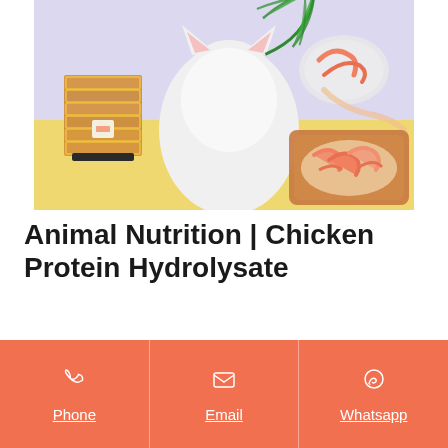[Figure (photo): Product photo showing cat food products: stacked packaged cat food on the left, a white cat in the middle, and dishes/trays of shrimp-topped cat food on the right with a palm leaf decoration]
Animal Nutrition | Chicken Protein Hydrolysate
The Chicken Protein Hydrolysate is a functional protein especially formulated to improve the performance of the animal feed. Its produced through the process of enzymatic hydrolysis that
Phone | Email | Whatsapp